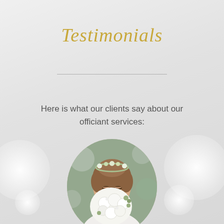Testimonials
Here is what our clients say about our officiant services:
[Figure (photo): Circular portrait photo of a bride holding a white flower bouquet, wearing a floral crown, looking down.]